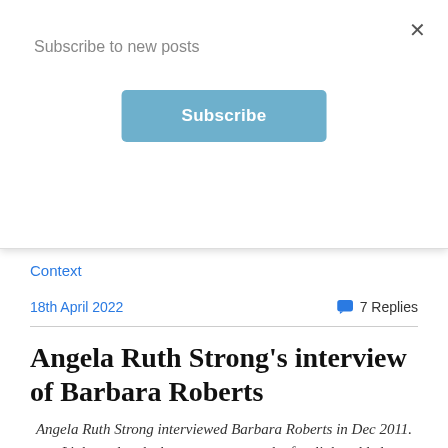Subscribe to new posts
Subscribe
×
Context
18th April 2022
7 Replies
Angela Ruth Strong's interview of Barbara Roberts
Angela Ruth Strong interviewed Barbara Roberts in Dec 2011. Links updated where necessary and a few links added. Material in square brackets added by Barb in 2021.